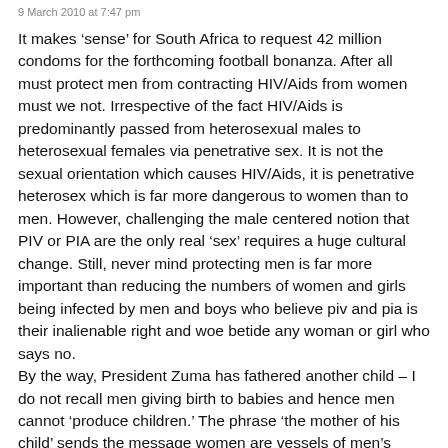9 March 2010 at 7:47 pm
It makes ‘sense’ for South Africa to request 42 million condoms for the forthcoming football bonanza. After all must protect men from contracting HIV/Aids from women must we not. Irrespective of the fact HIV/Aids is predominantly passed from heterosexual males to heterosexual females via penetrative sex. It is not the sexual orientation which causes HIV/Aids, it is penetrative heterosex which is far more dangerous to women than to men. However, challenging the male centered notion that PIV or PIA are the only real ‘sex’ requires a huge cultural change. Still, never mind protecting men is far more important than reducing the numbers of women and girls being infected by men and boys who believe piv and pia is their inalienable right and woe betide any woman or girl who says no.
By the way, President Zuma has fathered another child – I do not recall men giving birth to babies and hence men cannot ‘produce children.’ The phrase ‘the mother of his child’ sends the message women are vessels of men’s children since male mythology tells women only men ‘conceive children